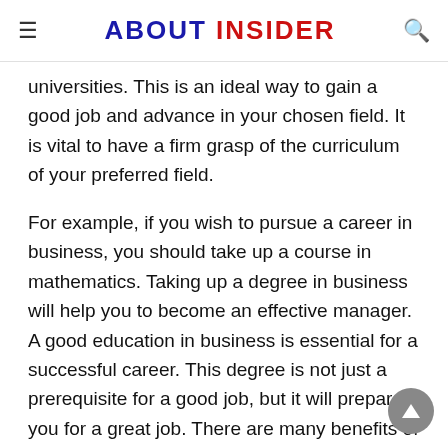ABOUT INSIDER
universities. This is an ideal way to gain a good job and advance in your chosen field. It is vital to have a firm grasp of the curriculum of your preferred field.
For example, if you wish to pursue a career in business, you should take up a course in mathematics. Taking up a degree in business will help you to become an effective manager. A good education in business is essential for a successful career. This degree is not just a prerequisite for a good job, but it will prepare you for a great job. There are many benefits of learning a new